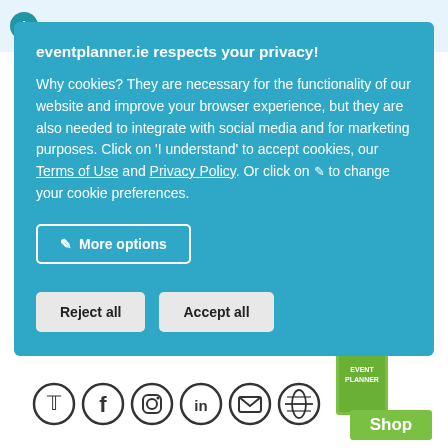Do you want to visit this page in English on our
eventplanner.ie respects your privacy!
Why cookies? They are necessary for the functionality of our website and improve your browser experience, but they are also needed to integrate with social media and for marketing purposes. Click on 'I understand' to accept cookies, our Terms of Use and Privacy Policy. Or click on ✎ to change your cookie preferences.
More options
Reject all
Accept all
[Figure (screenshot): Social media icons row: Twitter, Facebook, Instagram, LinkedIn, Email, Globe]
[Figure (screenshot): Event Planner shop widget with green book cover and Shop button]